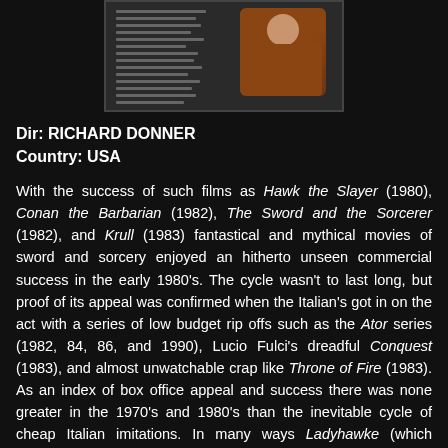[Figure (photo): Promotional or publicity photo showing a person in a brown jacket, with text/credits visible on the left side of the image, against a dark background.]
Dir: RICHARD DONNER
Country: USA
With the success of such films as Hawk the Slayer (1980), Conan the Barbarian (1982), The Sword and the Sorcerer (1982), and Krull (1983) fantastical and mythical movies of sword and sorcery enjoyed an hitherto unseen commercial success in the early 1980's. The cycle wasn't to last long, but proof of its appeal was confirmed when the Italian's got in on the act with a series of low budget rip offs such as the Ator series (1982, 84, 86, and 1990), Lucio Fulci's dreadful Conquest (1983), and almost unwatchable crap like Throne of Fire (1983). As an index of box office appeal and success there was none greater in the 1970's and 1980's than the inevitable cycle of cheap Italian imitations. In many ways Ladyhawke (which strolled to No 1 in last month's film review poll) is one of the most atypical of the cycle. There is no doubt in my mind that it would not have been made, were it not for some of the films previously mentioned, yet in an act